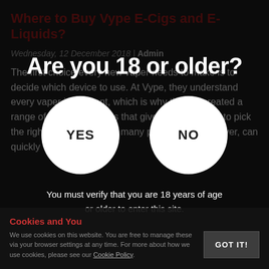Where to Buy Vype E-Cigs and E-Liquids?
Wednesday, 12 December 2018 | Admin
The first choice every new vaper needs to make is to decide which device to use. At Vype, they understand every vaper is different, which is why they've created a range of different devices that give you the option to pick the right one for you. The many possibilities, however, can quickly
[Figure (other): Age verification modal overlay with title 'Are you 18 or older?', two circular white buttons labeled YES and NO, and text 'You must verify that you are 18 years of age or older to enter this site.']
Cookies and You
We use cookies on this website. You are free to manage these via your browser settings at any time. For more about how we use cookies, please see our Cookie Policy.
GOT IT!